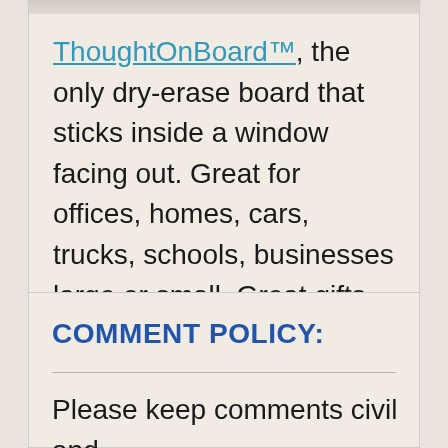[Figure (photo): Partial image at the top of the card, mostly cropped out showing a light gray/white background strip.]
ThoughtOnBoard™, the only dry-erase board that sticks inside a window facing out. Great for offices, homes, cars, trucks, schools, businesses large or small. Great gifts. Small and large sizes available. See & buy at ThoughtOnBoard.com
COMMENT POLICY:
Please keep comments civil and